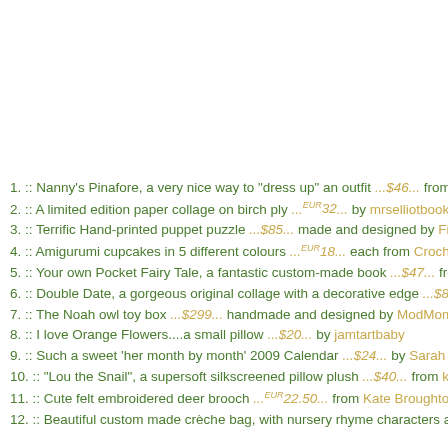1.  ::  Nanny's Pinafore, a very nice way to "dress up" an outfit ...$46.. from
2.  ::  A limited edition paper collage on birch ply ...EUR32.. by mrselliotbooks
3.  ::  Terrific Hand-printed puppet puzzle ...$85.. made and designed by Fid
4.  ::  Amigurumi cupcakes in 5 different colours ...EUR18.. each from Crochet
5.  ::  Your own Pocket Fairy Tale, a fantastic custom-made book ...$47.. fro
6.  ::  Double Date, a gorgeous original collage with a decorative edge ...$85
7.  ::  The Noah owl toy box ...$299.. handmade and designed by ModMom
8.  ::  I love Orange Flowers....a small pillow ...$20.. by jamtartbaby
9.  ::  Such a sweet 'her month by month' 2009 Calendar ...$24.. by Sarah J
10.  ::  "Lou the Snail", a supersoft silkscreened pillow plush ...$40.. from klt
11.  ::  Cute felt embroidered deer brooch ...EUR22.50.. from Kate Broughton
12.  ::  Beautiful custom made crèche bag, with nursery rhyme characters an